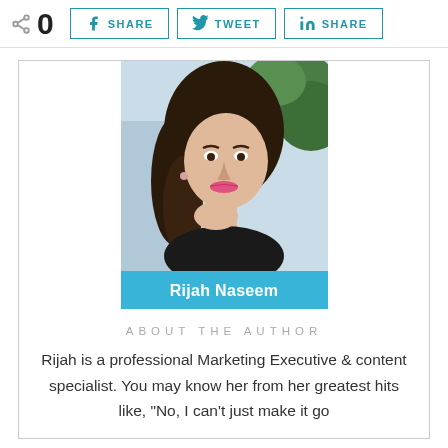0  SHARE  TWEET  SHARE
[Figure (photo): Portrait photo of Rijah Naseem, a woman with long dark hair, resting her chin on her hand, with green foliage in the background. A blue banner at the bottom reads 'Rijah Naseem'.]
ABOUT THE AUTHOR
Rijah is a professional Marketing Executive & content specialist. You may know her from her greatest hits like, "No, I can't just make it go